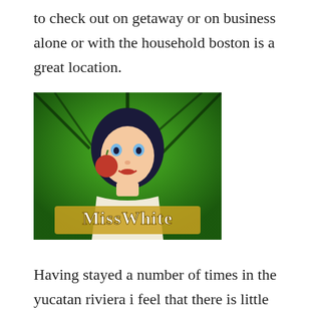to check out on getaway or on business alone or with the household boston is a great location.
[Figure (illustration): Illustration of a cartoon woman with black hair holding a red apple, with 'MissWhite' stylized text logo at the bottom, green background with tree silhouettes.]
Having stayed a number of times in the yucatan riviera i feel that there is little difference between that region and the best casino to win money tourist areas of dr. There are f1 casino no deposit bonus currently 293 confirmed cases in tulsa county with 16 deaths, according to the osdh website. Then there's the quarantine factor -- some rush online casino states are